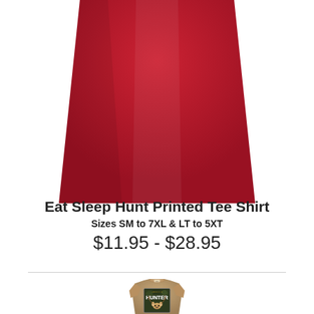[Figure (photo): Bottom portion of a red t-shirt shown from below the chest, cropped at top]
Eat Sleep Hunt Printed Tee Shirt
Sizes SM to 7XL & LT to 5XT
$11.95 - $28.95
[Figure (photo): Tan/khaki t-shirt with American Hunter graphic featuring a deer and camo design, shown from waist up]